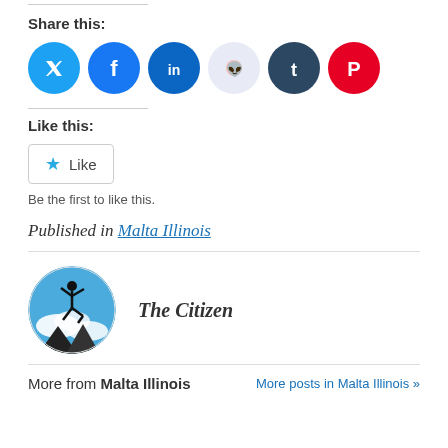Share this:
[Figure (infographic): Six social sharing icons in circles: Twitter (blue), Facebook (blue), LinkedIn (blue), Reddit (light blue-gray), Tumblr (dark blue), Pinterest (red)]
Like this:
[Figure (infographic): Like button widget with star icon and 'Like' text]
Be the first to like this.
Published in Malta Illinois
[Figure (photo): Circular avatar photo of The Citizen: silhouette of a jumping person against a blue sky with clouds and globe]
The Citizen
More from Malta Illinois
More posts in Malta Illinois »